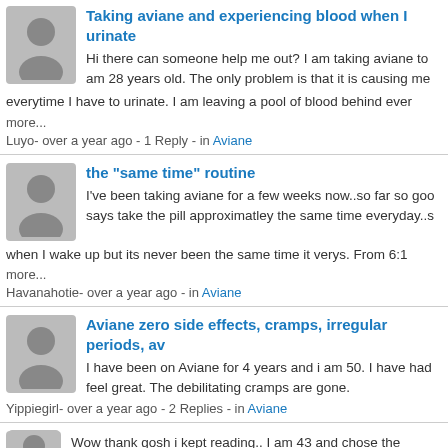Taking aviane and experiencing blood when I urinate
Hi there can someone help me out? I am taking aviane to am 28 years old. The only problem is that it is causing me everytime I have to urinate. I am leaving a pool of blood behind ever
more...
Luyo- over a year ago - 1 Reply - in Aviane
the "same time" routine
I've been taking aviane for a few weeks now..so far so goo says take the pill approximatley the same time everyday..s when I wake up but its never been the same time it verys. From 6:1
more...
Havanahotie- over a year ago - in Aviane
Aviane zero side effects, cramps, irregular periods, av
I have been on Aviane for 4 years and i am 50. I have had feel great. The debilitating cramps are gone.
Yippiegirl- over a year ago - 2 Replies - in Aviane
Wow thank gosh i kept reading.. I am 43 and chose the